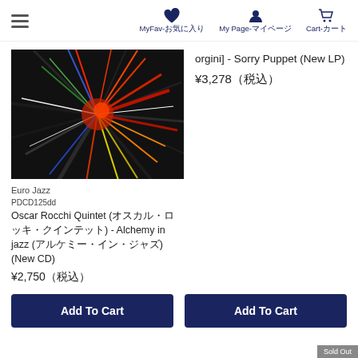MyFav-お気に入り | My Page-マイページ | Cart-カート
[Figure (photo): Abstract colorful spin art album cover with radial streaks of color]
Euro Jazz
PDCD125dd
Oscar Rocchi Quintet (オスカル・ロッキ・クインテット) - Alchemy in jazz (アルケミー・イン・ジャズ) (New CD)
¥2,750（税込）
orgini] - Sorry Puppet (New LP)
¥3,278（税込）
Add To Cart
Add To Cart
Sold Out